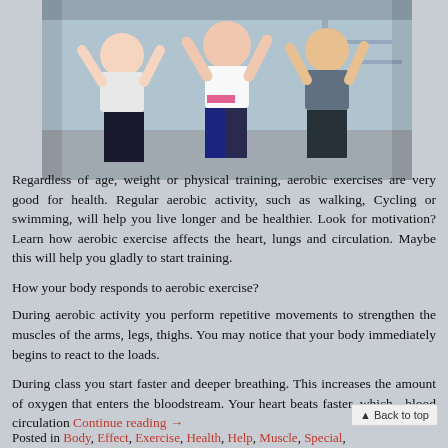[Figure (photo): People doing aerobic exercises in a gym class, women in workout attire with arms raised]
Regardless of age, weight or physical training, aerobic exercises are very good for health. Regular aerobic activity, such as walking, Cycling or swimming, will help you live longer and be healthier. Look for motivation? Learn how aerobic exercise affects the heart, lungs and circulation. Maybe this will help you gladly to start training.
How your body responds to aerobic exercise?
During aerobic activity you perform repetitive movements to strengthen the muscles of the arms, legs, thighs. You may notice that your body immediately begins to react to the loads.
During class you start faster and deeper breathing. This increases the amount of oxygen that enters the bloodstream. Your heart beats faster, which blood circulation Continue reading →
▲ Back to top
Posted in Body, Effect, Exercise, Health, Help, Muscle, Special,